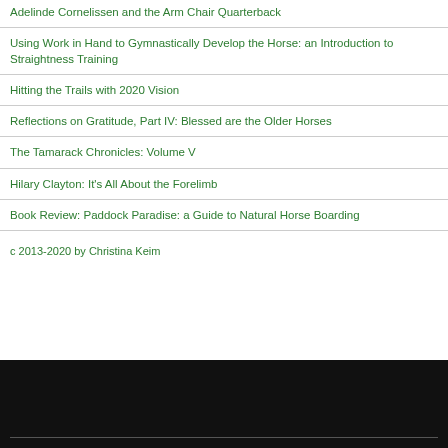Adelinde Cornelissen and the Arm Chair Quarterback
Using Work in Hand to Gymnastically Develop the Horse: an Introduction to Straightness Training
Hitting the Trails with 2020 Vision
Reflections on Gratitude, Part IV: Blessed are the Older Horses
The Tamarack Chronicles: Volume V
Hilary Clayton: It's All About the Forelimb
Book Review: Paddock Paradise: a Guide to Natural Horse Boarding
c 2013-2020 by Christina Keim